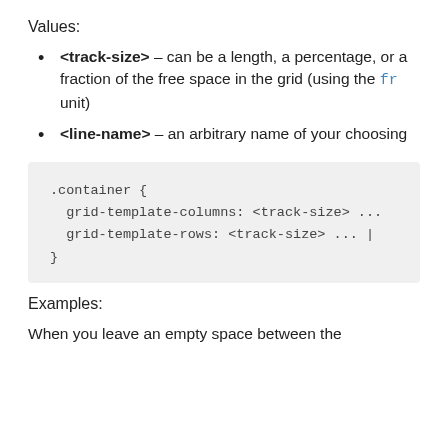Values:
<track-size> – can be a length, a percentage, or a fraction of the free space in the grid (using the fr unit)
<line-name> – an arbitrary name of your choosing
.container {
  grid-template-columns: <track-size> ...
  grid-template-rows: <track-size> ... |
}
Examples:
When you leave an empty space between the